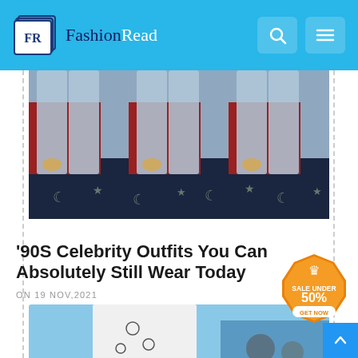FashionRead
[Figure (photo): Repeated image of person wearing light blue jeans and white top, with patriotic-style fabric with stars and moon pattern in dark blue and red in background]
'90S Celebrity Outfits You Can Absolutely Still Wear Today
ON 19 NOV,2021
[Figure (infographic): Orange badge with crown graphic reading 'SALE UNDER 50% GET NOW']
[Figure (photo): Partial photo of model in white embroidered outfit, with blurred blue background and photographer visible]